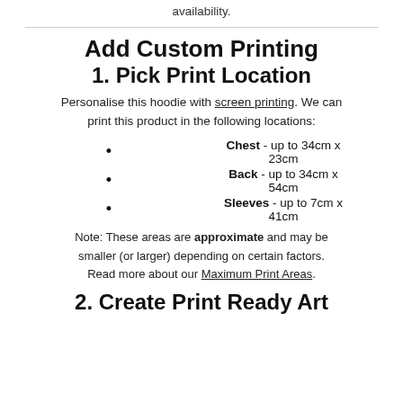availability.
Add Custom Printing
1. Pick Print Location
Personalise this hoodie with screen printing. We can print this product in the following locations:
Chest - up to 34cm x 23cm
Back - up to 34cm x 54cm
Sleeves - up to 7cm x 41cm
Note: These areas are approximate and may be smaller (or larger) depending on certain factors. Read more about our Maximum Print Areas.
2. Create Print Ready Art